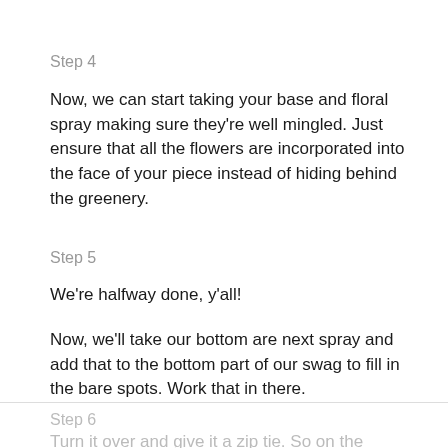Step 4
Now, we can start taking your base and floral spray making sure they’re well mingled. Just ensure that all the flowers are incorporated into the face of your piece instead of hiding behind the greenery.
Step 5
We’re halfway done, y’all!
Now, we’ll take our bottom are next spray and add that to the bottom part of our swag to fill in the bare spots. Work that in there.
Step 6
Turn it over and give it a zip tie. So on the